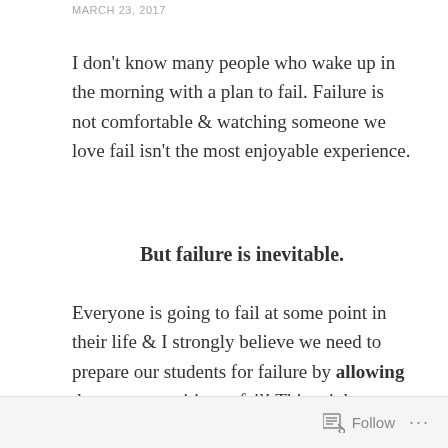MARCH 23, 2017
I don't know many people who wake up in the morning with a plan to fail. Failure is not comfortable & watching someone we love fail isn't the most enjoyable experience.
But failure is inevitable.
Everyone is going to fail at some point in their life & I strongly believe we need to prepare our students for failure by allowing them opportunities to fail! This might seem like an odd approach, but allowing failure, especially in a “safe place”, gives us an opportunity to rebrand failure.
Follow ...